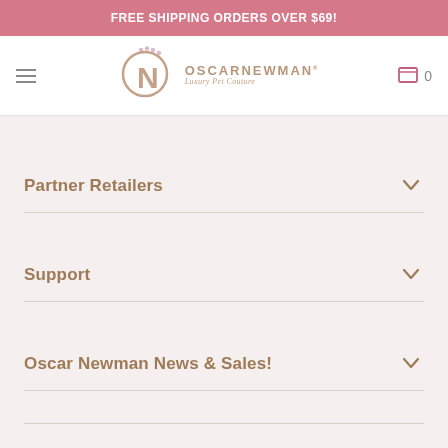FREE SHIPPING ORDERS OVER $69!
[Figure (logo): Oscar Newman Luxury Pet Couture logo with stylized ON monogram and pearl accents]
Partner Retailers
Support
Oscar Newman News & Sales!